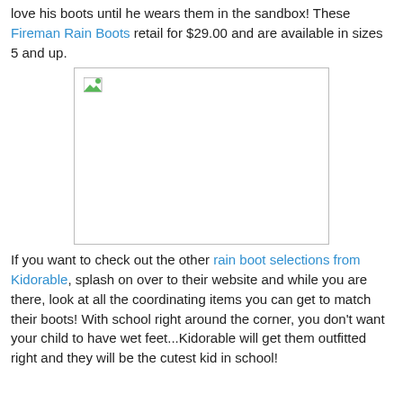love his boots until he wears them in the sandbox! These Fireman Rain Boots retail for $29.00 and are available in sizes 5 and up.
[Figure (photo): Broken/missing image placeholder with a small broken image icon in the top-left corner, bordered rectangle.]
If you want to check out the other rain boot selections from Kidorable, splash on over to their website and while you are there, look at all the coordinating items you can get to match their boots! With school right around the corner, you don't want your child to have wet feet...Kidorable will get them outfitted right and they will be the cutest kid in school!